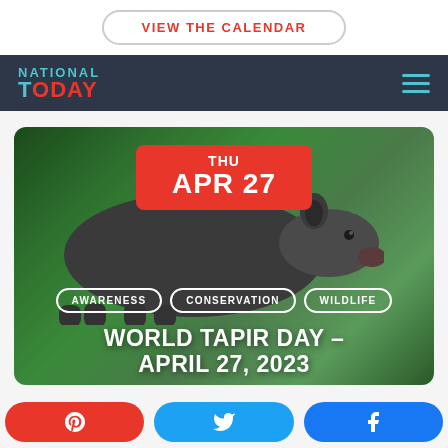VIEW THE CALENDAR
[Figure (screenshot): National Today website header with logo on dark navy background and hamburger menu icon in teal]
[Figure (photo): World Tapir Day article hero image showing a black tapir in a green jungle setting, with date badge THU APR 27, tag pills AWARENESS, CONSERVATION, WILDLIFE, and title WORLD TAPIR DAY – APRIL 27, 2023]
WORLD TAPIR DAY – APRIL 27, 2023